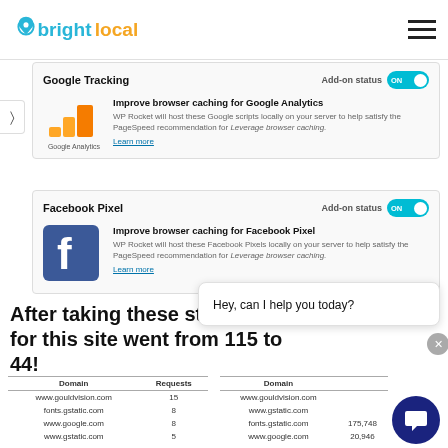[Figure (logo): BrightLocal logo with location pin icon in blue and yellow text]
Google Tracking
Add-on status ON
Improve browser caching for Google Analytics
WP Rocket will host these Google scripts locally on your server to help satisfy the PageSpeed recommendation for Leverage browser caching.
Learn more
Facebook Pixel
Add-on status ON
Improve browser caching for Facebook Pixel
WP Rocket will host these Facebook Pixels locally on your server to help satisfy the PageSpeed recommendation for Leverage browser caching.
Learn more
After taking these steps the number of requests for this site went from 115 to 44!
| Domain | Requests |
| --- | --- |
| www.gouldvision.com | 15 |
| fonts.gstatic.com | 8 |
| www.google.com | 8 |
| www.gstatic.com | 5 |
| Domain |  |
| --- | --- |
| www.gouldvision.com |  |
| www.gstatic.com |  |
| fonts.gstatic.com | 175,748 |
| www.google.com | 20,946 |
Hey, can I help you today?